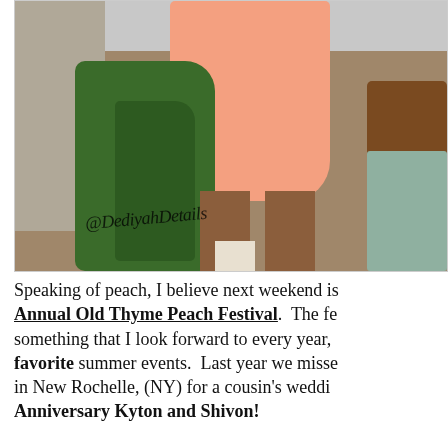[Figure (photo): A woman wearing a black-and-white patterned top and a peach/salmon-colored pencil skirt, standing outdoors near tropical plants on a sidewalk. White ankle-strap heeled sandals visible. A decorative chair is to the right. Watermark reads @DediyahDetails.]
Speaking of peach, I believe next weekend is Annual Old Thyme Peach Festival. The fe... something that I look forward to every year, favorite summer events. Last year we misse... in New Rochelle, (NY) for a cousin's weddi... Anniversary Kyton and Shivon!